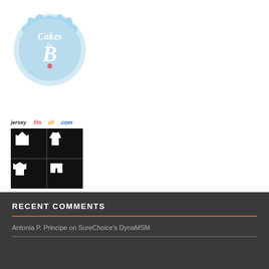[Figure (logo): Cakes by B logo - circular light blue badge with scalloped edges, white cursive text 'Cakes by B' with a small cupcake icon]
[Figure (logo): jersyfitsall.com logo - text above a black square image showing four white clothing silhouettes: t-shirt, tank top, long sleeve shirt, and shorts]
RECENT COMMENTS
Antonia P. Principe on SureChoice's DynaMSM